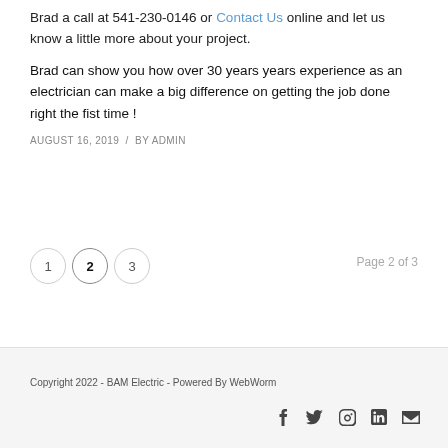Brad a call at 541-230-0146 or Contact Us online and let us know a little more about your project.
Brad can show you how over 30 years years experience as an electrician can make a big difference on getting the job done right the fist time !
AUGUST 16, 2019  /  BY ADMIN
1  2  3  Page 2 of 3
Copyright 2022 - BAM Electric - Powered By WebWorm